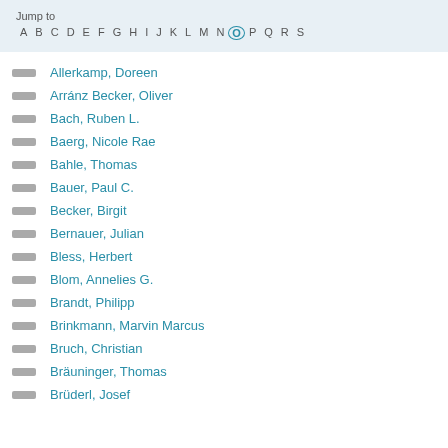Jump to: A B C D E F G H I J K L M N O P Q R S
Allerkamp, Doreen
Arránz Becker, Oliver
Bach, Ruben L.
Baerg, Nicole Rae
Bahle, Thomas
Bauer, Paul C.
Becker, Birgit
Bernauer, Julian
Bless, Herbert
Blom, Annelies G.
Brandt, Philipp
Brinkmann, Marvin Marcus
Bruch, Christian
Bräuninger, Thomas
Brüderl, Josef